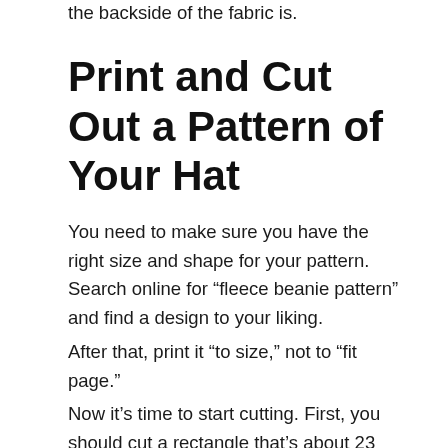the backside of the fabric is.
Print and Cut Out a Pattern of Your Hat
You need to make sure you have the right size and shape for your pattern. Search online for “fleece beanie pattern” and find a design to your liking.
After that, print it “to size,” not to “fit page.”
Now it’s time to start cutting. First, you should cut a rectangle that’s about 23 inches (58.4 cm) wide by 12 inches